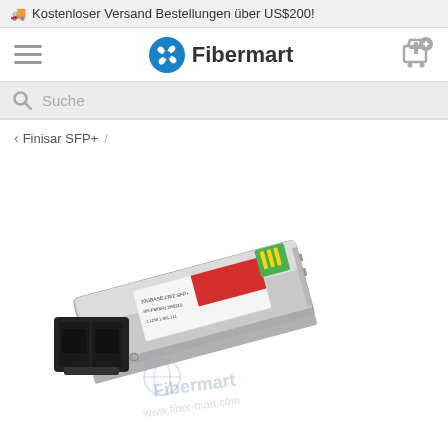🚚 Kostenloser Versand Bestellungen über US$200!
[Figure (logo): Fibermart logo with blue pinwheel icon and bold text 'Fibermart']
Suche
< Finisar SFP+ /
[Figure (photo): SFP+ optical transceiver module with silver metallic body, red and green label sticker, gold connector fingers, and black plastic LC duplex connector on the left side. Fibermart watermark and www.fiber-mart.com text overlaid on the image.]